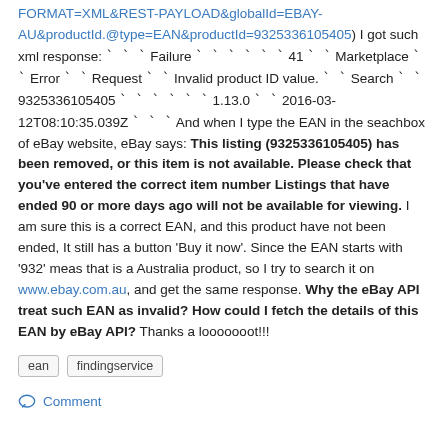FORMAT=XML&REST-PAYLOAD&globalId=EBAY-AU&productId.@type=EAN&productId=9325336105405) I got such xml response: ` ` ` Failure ` ` ` ` ` ` 41 ` ` Marketplace ` ` Error ` ` Request ` ` Invalid product ID value. ` ` Search ` ` 9325336105405 ` ` ` ` ` ` 1.13.0 ` ` 2016-03-12T08:10:35.039Z ` ` ` And when I type the EAN in the seachbox of eBay website, eBay says: **This listing (9325336105405) has been removed, or this item is not available.** **Please check that you've entered the correct item number** **Listings that have ended 90 or more days ago will not be available for viewing.** I am sure this is a correct EAN, and this product have not been ended, It still has a button 'Buy it now'. Since the EAN starts with '932' meas that is a Australia product, so I try to search it on www.ebay.com.au, and get the same response. **Why the eBay API treat such EAN as invalid? How could I fetch the details of this EAN by eBay API?** Thanks a looooooot!!!
ean
findingservice
Comment